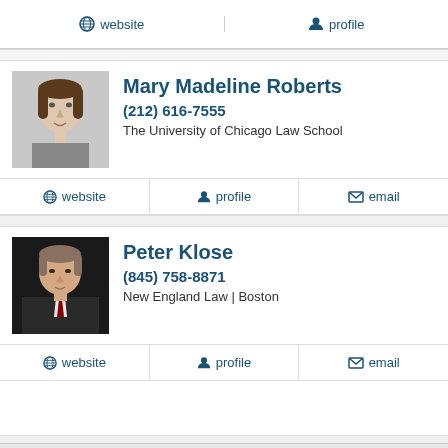website
profile
[Figure (photo): Headshot of Mary Madeline Roberts, a woman with shoulder-length brown hair]
Mary Madeline Roberts
(212) 616-7555
The University of Chicago Law School
website
profile
email
[Figure (photo): Headshot of Peter Klose, a man in a dark suit with a red tie]
Peter Klose
(845) 758-8871
New England Law | Boston
website
profile
email